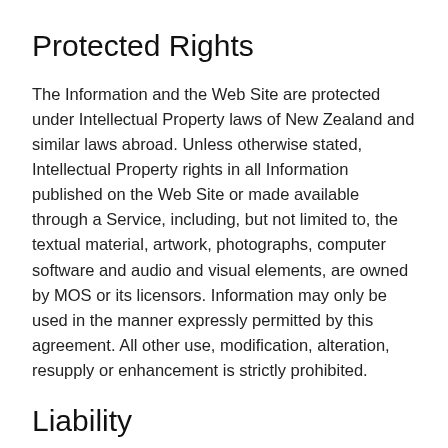Protected Rights
The Information and the Web Site are protected under Intellectual Property laws of New Zealand and similar laws abroad. Unless otherwise stated, Intellectual Property rights in all Information published on the Web Site or made available through a Service, including, but not limited to, the textual material, artwork, photographs, computer software and audio and visual elements, are owned by MOS or its licensors. Information may only be used in the manner expressly permitted by this agreement. All other use, modification, alteration, resupply or enhancement is strictly prohibited.
Liability
Except to the extent that the law prohibits exclusion of liability by MOS, MOS shall not be liable for any loss, damage or expense (whether direct, indirect or